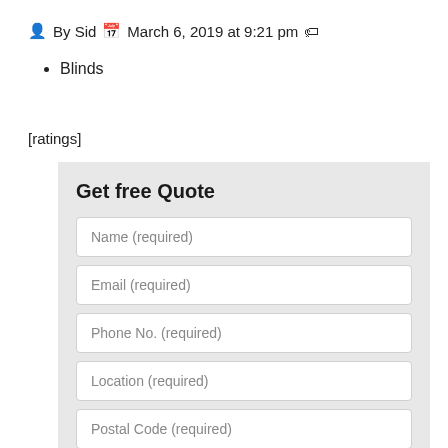By Sid  March 6, 2019 at 9:21 pm
Blinds
[ratings]
Get free Quote
Name (required)
Email (required)
Phone No. (required)
Location (required)
Postal Code (required)
Subject